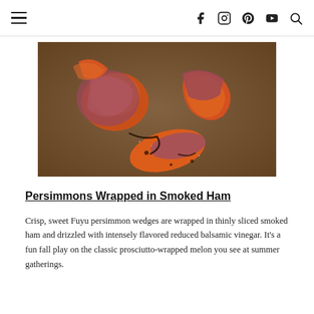≡  [social icons: facebook, instagram, pinterest, youtube, search]
[Figure (photo): Food photo showing persimmon wedges wrapped in smoked ham on a dark plate, drizzled with balsamic vinegar reduction]
Persimmons Wrapped in Smoked Ham
Crisp, sweet Fuyu persimmon wedges are wrapped in thinly sliced smoked ham and drizzled with intensely flavored reduced balsamic vinegar. It's a fun fall play on the classic prosciutto-wrapped melon you see at summer gatherings.